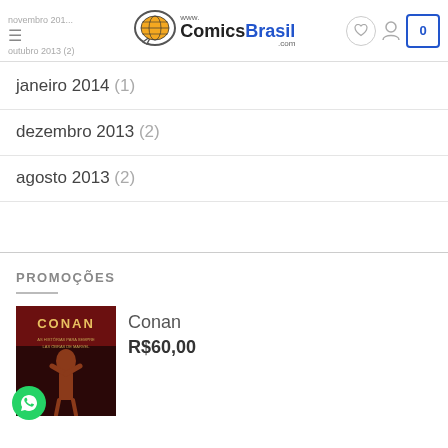www.ComicsBrasil.com
novembro 2013
outubro 2013 (2)
janeiro 2014 (1)
dezembro 2013 (2)
agosto 2013 (2)
PROMOÇÕES
[Figure (photo): Conan book cover with a figure in dark red tones]
Conan
R$60,00